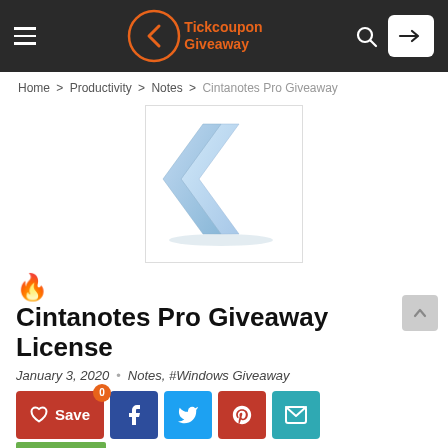Tickcoupon Giveaway — navigation bar with hamburger menu, logo, search icon, and login button
Home > Productivity > Notes > Cintanotes Pro Giveaway
[Figure (logo): CintaNotes app icon — a blue/silver chevron left arrow on white background]
🔥 Cintanotes Pro Giveaway License
January 3, 2020  •  Notes, #Windows Giveaway
Save  0  [Facebook] [Twitter] [Pinterest] [Email]